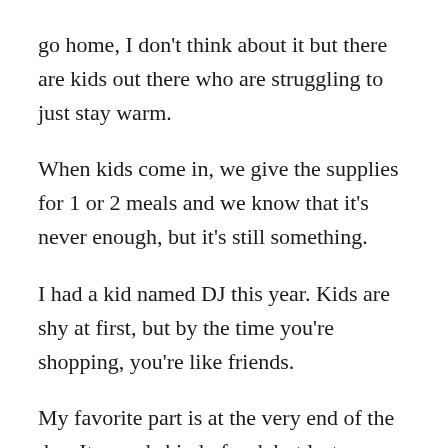go home, I don't think about it but there are kids out there who are struggling to just stay warm.
When kids come in, we give the supplies for 1 or 2 meals and we know that it's never enough, but it's still something.
I had a kid named DJ this year. Kids are shy at first, but by the time you're shopping, you're like friends.
My favorite part is at the very end of the day. It sounds kind of sad, but last year the kid I had fell asleep when I was carrying him and when it was time to leave, he didn't want to go. With DJ this year, he was like “He's my best friend, can he come over?” It's the best part and the